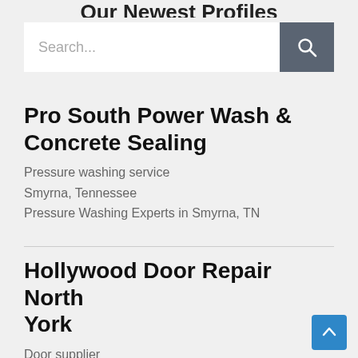Our Newest Profiles
[Figure (screenshot): Search bar with text input field showing placeholder 'Search...' and a dark grey search button with magnifying glass icon]
Pro South Power Wash & Concrete Sealing
Pressure washing service
Smyrna, Tennessee
Pressure Washing Experts in Smyrna, TN
Hollywood Door Repair North York
Door supplier
North York, Ontario